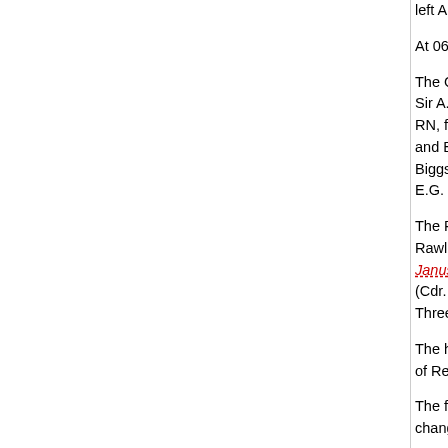left Alexandria for Piraeus to consult with the Gr...
At 0600 hours, convoy AN 6 was in position 34°...
The Commander-in-Chief departed Alexandria w... Sir A.B. Cunningham, KCB, DSO, RN), HMS Va... RN, flying the flag of Rear-Admiral A.L.St.G. Lys... and Bar, RN), HMS Hasty (Lt.Cdr. L.R.K. Tyrwh... Biggs, DSO, RN), HMS Hereward (Lt.Cdr. C.W.... E.G. McGregor, DSO, RN) and HMS Defender (
The Rear-Admiral 1st Battle Squadron sailed wi... Rawlings, OBE, RN), HMS Ramillies (Capt. A.D... Janus (Cdr. J.A.W. Tothill, RN), HMS Juno (Cdr.... (Cdr. J.W.M. Eaton, RN). HMS Eagle had defec... Three aircraft from Eagle were embarked on Illu...
The heavy cruiser HMS York (Capt. R.H. Portal.... of Rear-Admiral E. de F. Renouf, CVO, RN) also...
The fleet was clear of the harbour by 1300 hour... changed to 270°. At 2000 hours, course was ch...
7 November 1940.